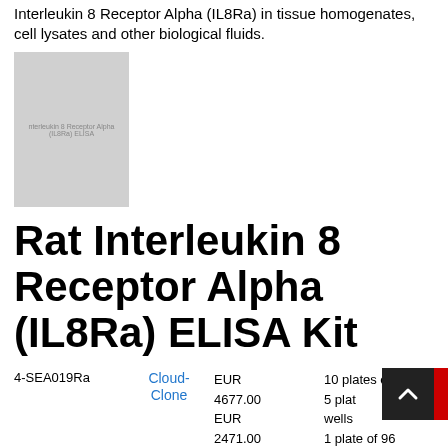Interleukin 8 Receptor Alpha (IL8Ra) in tissue homogenates, cell lysates and other biological fluids.
[Figure (photo): Product image placeholder for Rat Interleukin 8 Receptor Alpha (IL8Ra) ELISA Kit]
Rat Interleukin 8 Receptor Alpha (IL8Ra) ELISA Kit
| SKU | Brand | Price | Size |
| --- | --- | --- | --- |
| 4-SEA019Ra | Cloud-Clone | EUR 4677.00
EUR 2471.00
EUR 627.00 | 10 plates of 96 wells
5 plates of 96 wells
1 plate of 96 wells |